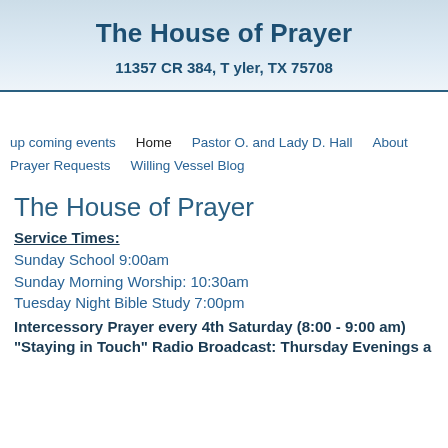The House of Prayer
11357 CR 384, T yler, TX 75708
up coming events  Home  Pastor O. and Lady D. Hall  About  Prayer Requests  Willing Vessel Blog
The House of Prayer
Service Times:
Sunday School 9:00am
Sunday Morning Worship: 10:30am
Tuesday Night Bible Study 7:00pm
Intercessory Prayer  every 4th Saturday (8:00 - 9:00 am)
"Staying in Touch" Radio Broadcast: Thursday Evenings a